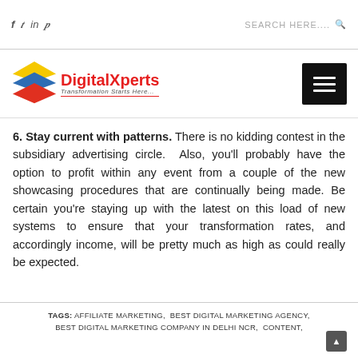f  in  p    SEARCH HERE....
[Figure (logo): DigitalXperts logo with layered colored squares (yellow, blue, red) and tagline 'Transformation Starts Here...']
6. Stay current with patterns.
There is no kidding contest in the subsidiary advertising circle.  Also, you'll probably have the option to profit within any event from a couple of the new showcasing procedures that are continually being made. Be certain you're staying up with the latest on this load of new systems to ensure that your transformation rates, and accordingly income, will be pretty much as high as could really be expected.
TAGS: AFFILIATE MARKETING,  BEST DIGITAL MARKETING AGENCY,  BEST DIGITAL MARKETING COMPANY IN DELHI NCR,  CONTENT,